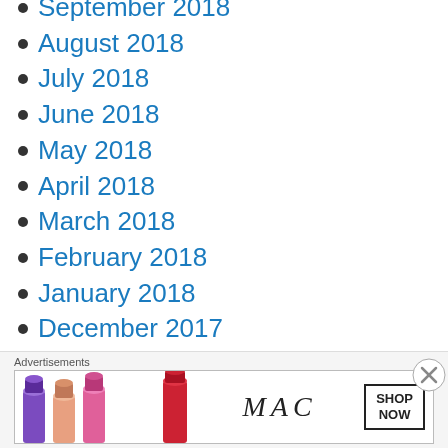September 2018
August 2018
July 2018
June 2018
May 2018
April 2018
March 2018
February 2018
January 2018
December 2017
November 2017
October 2017
September 2017
August 2017
[Figure (illustration): MAC Cosmetics advertisement banner showing colorful lipsticks with MAC logo and SHOP NOW button]